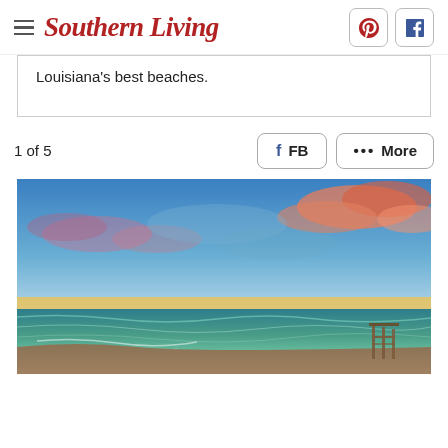Southern Living
Louisiana's best beaches.
1 of 5
[Figure (photo): Sunset beach scene with vibrant orange and blue sky, waves on shore, and a pier structure on the right side.]